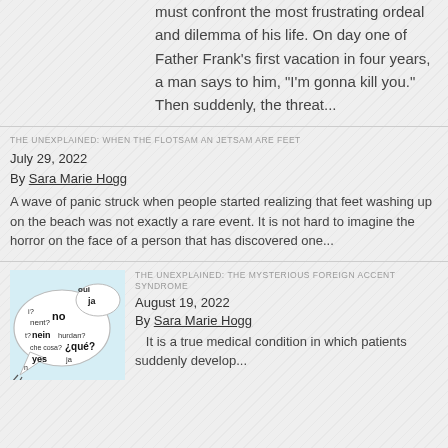must confront the most frustrating ordeal and dilemma of his life. On day one of Father Frank's first vacation in four years, a man says to him, "I'm gonna kill you." Then suddenly, the threat...
THE UNEXPLAINED: WHEN THE FLOTSAM AN JETSAM ARE FEET
July 29, 2022
By Sara Marie Hogg
A wave of panic struck when people started realizing that feet washing up on the beach was not exactly a rare event. It is not hard to imagine the horror on the face of a person that has discovered one...
[Figure (illustration): Speech bubble illustration with words in multiple languages: oui, ja, no, nein, hurdan?, que?, che cosa?, yes, and partial words]
THE UNEXPLAINED: THE MYSTERIOUS FOREIGN ACCENT SYNDROME
August 19, 2022
By Sara Marie Hogg
It is a true medical condition in which patients suddenly develop...